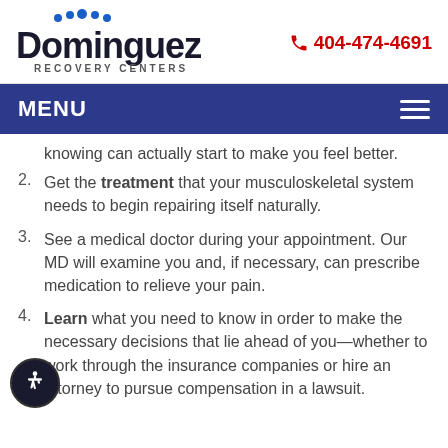[Figure (logo): Dominguez Recovery Centers logo with blue dots above the D]
404-474-4691
MENU
knowing can actually start to make you feel better.
2. Get the treatment that your musculoskeletal system needs to begin repairing itself naturally.
3. See a medical doctor during your appointment. Our MD will examine you and, if necessary, can prescribe medication to relieve your pain.
4. Learn what you need to know in order to make the necessary decisions that lie ahead of you—whether to work through the insurance companies or hire an attorney to pursue compensation in a lawsuit.